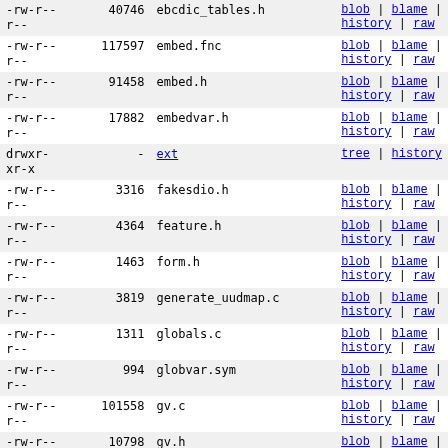| permissions | size | name | links |
| --- | --- | --- | --- |
| -rw-r--r-- | 40746 | ebcdic_tables.h | blob | blame | history | raw |
| -rw-r--r-- | 117597 | embed.fnc | blob | blame | history | raw |
| -rw-r--r-- | 91458 | embed.h | blob | blame | history | raw |
| -rw-r--r-- | 17882 | embedvar.h | blob | blame | history | raw |
| drwxr-xr-x | - | ext | tree | history |
| -rw-r--r-- | 3316 | fakesdio.h | blob | blame | history | raw |
| -rw-r--r-- | 4364 | feature.h | blob | blame | history | raw |
| -rw-r--r-- | 1463 | form.h | blob | blame | history | raw |
| -rw-r--r-- | 3819 | generate_uudmap.c | blob | blame | history | raw |
| -rw-r--r-- | 1311 | globals.c | blob | blame | history | raw |
| -rw-r--r-- | 994 | globvar.sym | blob | blame | history | raw |
| -rw-r--r-- | 101558 | gv.c | blob | blame | history | raw |
| -rw-r--r-- | 10798 | gv.h | blob | blame | history | raw |
| drwxr-xr-x | - | h2pl | tree | history |